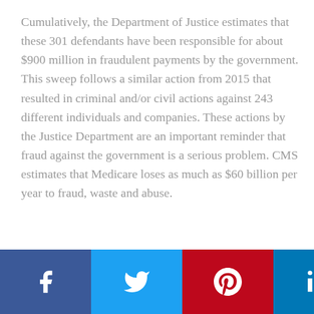Cumulatively, the Department of Justice estimates that these 301 defendants have been responsible for about $900 million in fraudulent payments by the government. This sweep follows a similar action from 2015 that resulted in criminal and/or civil actions against 243 different individuals and companies. These actions by the Justice Department are an important reminder that fraud against the government is a serious problem. CMS estimates that Medicare loses as much as $60 billion per year to fraud, waste and abuse.
To learn more about our Whistleblower and Qui Tam practice, click here. Our firm is located in Nashville,
[Figure (other): Social media sharing bar with Facebook, Twitter, Pinterest, and LinkedIn icons on a gold/tan background]